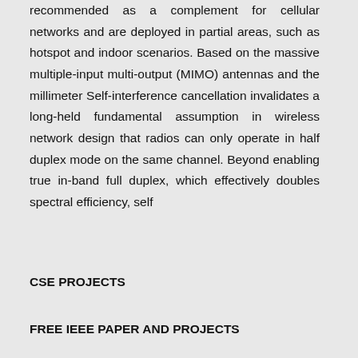recommended as a complement for cellular networks and are deployed in partial areas, such as hotspot and indoor scenarios. Based on the massive multiple-input multi-output (MIMO) antennas and the millimeter Self-interference cancellation invalidates a long-held fundamental assumption in wireless network design that radios can only operate in half duplex mode on the same channel. Beyond enabling true in-band full duplex, which effectively doubles spectral efficiency, self
CSE PROJECTS
FREE IEEE PAPER AND PROJECTS